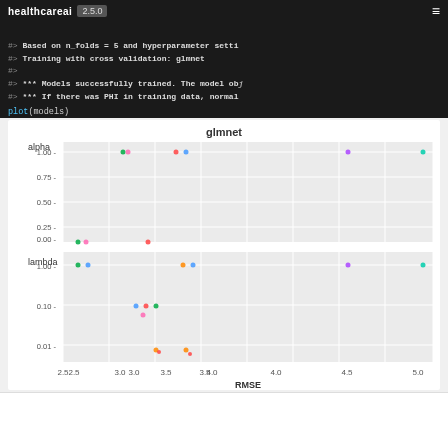healthcareai 2.5.0
#> Based on n_folds = 5 and hyperparameter setti
#> Training with cross validation: glmnet
#>
#> *** Models successfully trained. The model obj
#> *** If there was PHI in training data, normal
plot(models)
[Figure (scatter-plot): Two scatter subplots showing glmnet hyperparameter tuning results. Top panel shows alpha (0.00 to 1.00) vs RMSE, with colored dots scattered mostly near RMSE 2.5-3.5 for alpha=1.0 and alpha=0.0. Bottom panel shows lambda (0.01 to 1.00 log scale) vs RMSE, with colored dots clustered near RMSE 2.5-3.5.]